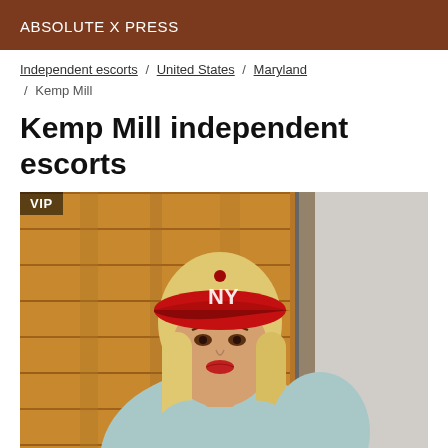ABSOLUTE X PRESS
Independent escorts / United States / Maryland / Kemp Mill
Kemp Mill independent escorts
[Figure (photo): Woman wearing a red NY baseball cap and a light blue sleeveless top, with long blonde hair, standing in front of a wooden wall. A VIP badge is overlaid in the top-left corner.]